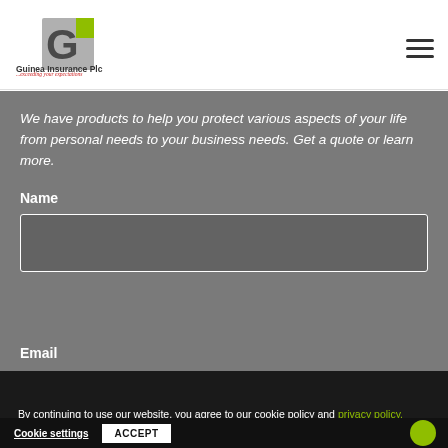Guinea Insurance Plc - ...exceeding your expectations
We have products to help you protect various aspects of your life from personal needs to your business needs. Get a quote or learn more.
Name
Email
By continuing to use our website, you agree to our cookie policy and privacy policy.
Cookie settings   ACCEPT